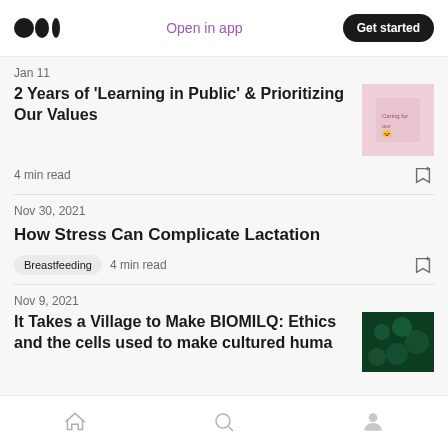Medium logo | Open in app | Get started
Jan 11
2 Years of 'Learning in Public' & Prioritizing Our Values
4 min read
Nov 30, 2021
How Stress Can Complicate Lactation
Breastfeeding  4 min read
Nov 9, 2021
It Takes a Village to Make BIOMILQ: Ethics and the cells used to make cultured huma
Home | Search | Profile